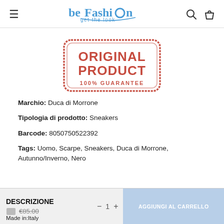beFashion get the look
[Figure (illustration): Red stamp graphic reading ORIGINAL PRODUCT 100% GUARANTEE with rounded rectangle border]
Marchio:  Duca di Morrone
Tipologia di prodotto:  Sneakers
Barcode:  8050750522392
Tags:  Uomo, Scarpe, Sneakers, Duca di Morrone, Autunno/Inverno, Nero
DESCRIZIONE
Made in:Italy
€85.00
AGGIUNGI AL CARRELLO